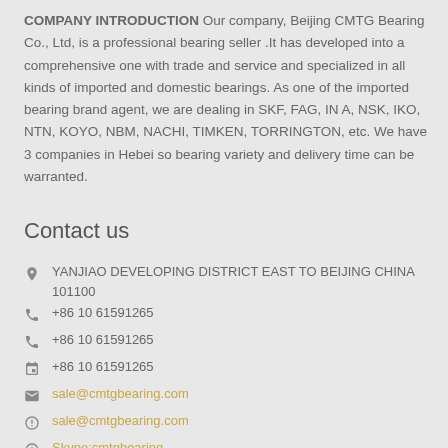COMPANY INTRODUCTION Our company, Beijing CMTG Bearing Co., Ltd, is a professional bearing seller .It has developed into a comprehensive one with trade and service and specialized in all kinds of imported and domestic bearings. As one of the imported bearing brand agent, we are dealing in SKF, FAG, IN A, NSK, IKO, NTN, KOYO, NBM, NACHI, TIMKEN, TORRINGTON, etc. We have 3 companies in Hebei so bearing variety and delivery time can be warranted.
Contact us
YANJIAO DEVELOPING DISTRICT EAST TO BEIJING CHINA 101100
+86 10 61591265
+86 10 61591265
+86 10 61591265
sale@cmtgbearing.com
sale@cmtgbearing.com
Skype:cmtgbearing